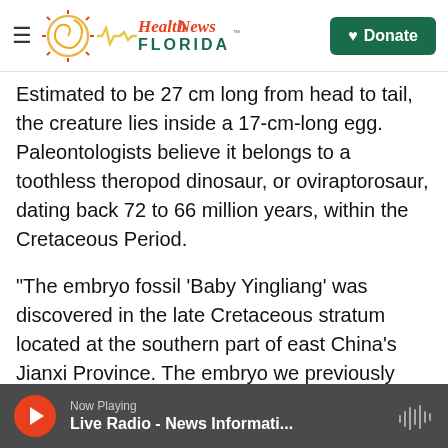Health News Florida — Navigation header with logo and Donate button
Estimated to be 27 cm long from head to tail, the creature lies inside a 17-cm-long egg. Paleontologists believe it belongs to a toothless theropod dinosaur, or oviraptorosaur, dating back 72 to 66 million years, within the Cretaceous Period.
"The embryo fossil 'Baby Yingliang' was discovered in the late Cretaceous stratum located at the southern part of east China's Jianxi Province. The embryo we previously found was not very complete. However, after three years of detailed study by the joint efforts of Chinese, British and Canadian researchers, they have found...
Now Playing — Live Radio - News Informati...